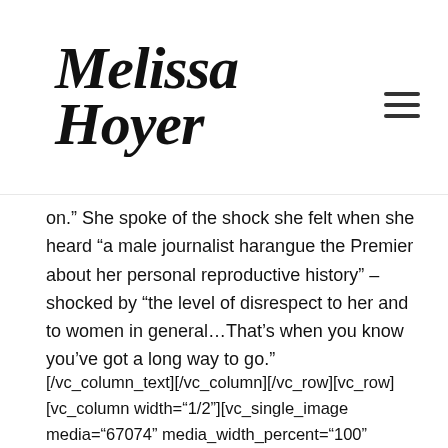Melissa Hoyer
on.” She spoke of the shock she felt when she heard “a male journalist harangue the Premier about her personal reproductive history” – shocked by “the level of disrespect to her and to women in general…That’s when you know you’ve got a long way to go.”
[/vc_column_text][/vc_column][/vc_row][vc_row][vc_column width="1/2"][vc_single_image media="67074" media_width_percent="100" alignment="center"